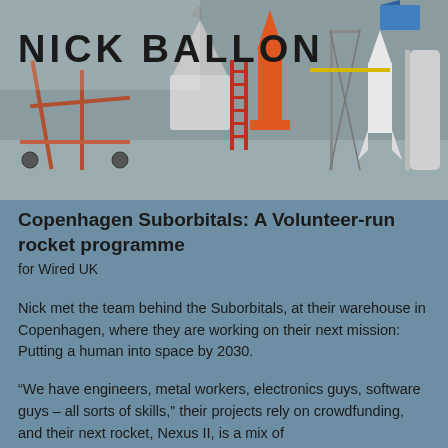[Figure (photo): Warehouse interior showing rocket components, frames, and equipment including orange rockets and metal scaffolding structures on a concrete floor]
Copenhagen Suborbitals: A Volunteer-run rocket programme
for Wired UK
Nick met the team behind the Suborbitals, at their warehouse in Copenhagen, where they are working on their next mission: Putting a human into space by 2030.
“We have engineers, metal workers, electronics guys, software guys – all sorts of skills,” their projects rely on crowdfunding, and their next rocket, Nexus II, is a mix of